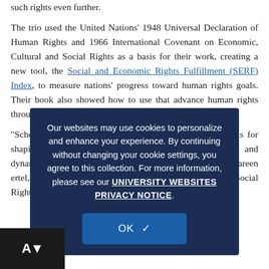such rights even further.

The trio used the United Nations' 1948 Universal Declaration of Human Rights and 1966 International Covenant on Economic, Cultural and Social Rights as a basis for their work, creating a new tool, the Social and Economic Rights Fulfillment (SERF) Index, to measure nations' progress toward human rights goals. Their book also showed how to use that advance human rights through government policies and public programs.

"Scholars and advocates used the SERF to forge new tools for shaping policy and scholarship, driving more inclusive and dynamic approaches to economic development," said Shareen ertel, co-director research Program on Economic and Social Rights.
Our websites may use cookies to personalize and enhance your experience. By continuing without changing your cookie settings, you agree to this collection. For more information, please see our UNIVERSITY WEBSITES PRIVACY NOTICE.